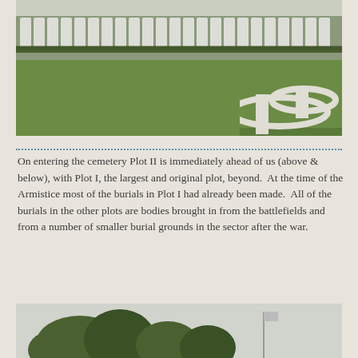[Figure (photo): A military cemetery with rows of white headstones along the top edge, green lawn in the foreground, and a curved white stone cross/monument structure in the lower right portion of the image.]
On entering the cemetery Plot II is immediately ahead of us (above & below), with Plot I, the largest and original plot, beyond.  At the time of the Armistice most of the burials in Plot I had already been made.  All of the burials in the other plots are bodies brought in from the battlefields and from a number of smaller burial grounds in the sector after the war.
[Figure (photo): A view of trees and a flagpole against an overcast sky, appearing to be taken at or near a military cemetery.]